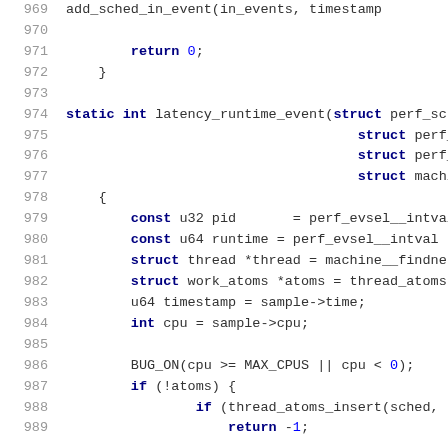Source code listing lines 969-989 showing C code for latency_runtime_event function
969: add_sched_in_event(in_events, timestamp
970: (blank)
971: return 0;
972: }
973: (blank)
974: static int latency_runtime_event(struct perf_sc
975: struct perf_ev
976: struct perf_sa
977: struct machine
978: {
979: const u32 pid = perf_evsel__intval
980: const u64 runtime = perf_evsel__intval
981: struct thread *thread = machine__findne
982: struct work_atoms *atoms = thread_atoms
983: u64 timestamp = sample->time;
984: int cpu = sample->cpu;
985: (blank)
986: BUG_ON(cpu >= MAX_CPUS || cpu < 0);
987: if (!atoms) {
988: if (thread_atoms_insert(sched,
989: return -1;